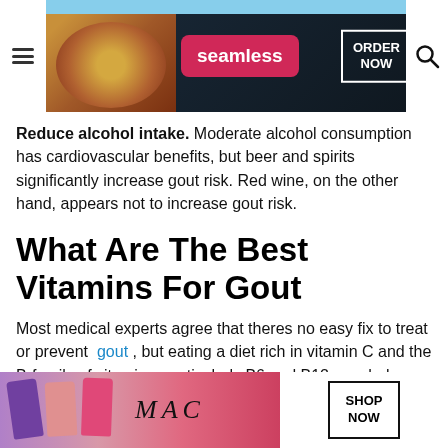[Figure (screenshot): Top navigation bar with hamburger menu icon, Seamless food delivery advertisement banner with pizza image, red Seamless button, ORDER NOW button, and search icon]
Reduce alcohol intake. Moderate alcohol consumption has cardiovascular benefits, but beer and spirits significantly increase gout risk. Red wine, on the other hand, appears not to increase gout risk.
What Are The Best Vitamins For Gout
Most medical experts agree that theres no easy fix to treat or prevent gout , but eating a diet rich in vitamin C and the B-family of vitamins, particularly B6 and B12, can help reduce inflammation and flare-ups. Many care providers recommend a daily multivitamin supplement that contains high do...
[Figure (screenshot): Bottom advertisement banner for MAC cosmetics showing lipstick products with SHOP NOW button and CLOSE button overlay]